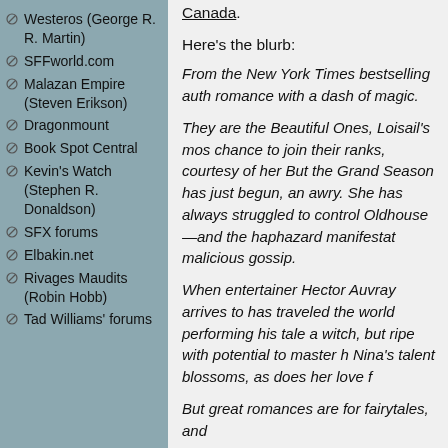Westeros (George R. R. Martin)
SFFworld.com
Malazan Empire (Steven Erikson)
Dragonmount
Book Spot Central
Kevin's Watch (Stephen R. Donaldson)
SFX forums
Elbakin.net
Rivages Maudits (Robin Hobb)
Tad Williams' forums
Canada.
Here's the blurb:
From the New York Times bestselling auth romance with a dash of magic.
They are the Beautiful Ones, Loisail's mos chance to join their ranks, courtesy of her But the Grand Season has just begun, an awry. She has always struggled to control Oldhouse—and the haphazard manifestat malicious gossip.
When entertainer Hector Auvray arrives to has traveled the world performing his tale a witch, but ripe with potential to master h Nina's talent blossoms, as does her love f
But great romances are for fairytales, and